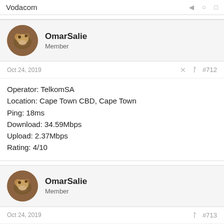Vodacom
[Figure (photo): Circular avatar of OmarSalie showing a cat/leopard image]
OmarSalie
Member
Oct 24, 2019   #712
Operator: TelkomSA
Location: Cape Town CBD, Cape Town
Ping: 18ms
Download: 34.59Mbps
Upload: 2.37Mbps
Rating: 4/10
[Figure (photo): Circular avatar of OmarSalie showing a cat/leopard image]
OmarSalie
Member
Oct 24, 2019   #713
Operator: TelkomSA